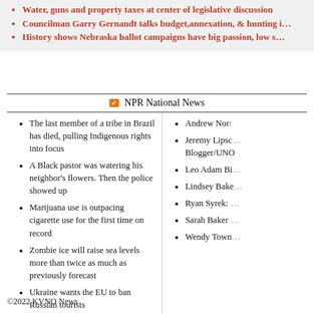Water, guns and property taxes at center of legislative discussion
Councilman Garry Gernandt talks budget, annexation, & hunting i...
History shows Nebraska ballot campaigns have big passion, low s...
NPR National News
The last member of a tribe in Brazil has died, pulling Indigenous rights into focus
A Black pastor was watering his neighbor's flowers. Then the police showed up
Marijuana use is outpacing cigarette use for the first time on record
Zombie ice will raise sea levels more than twice as much as previously forecast
Ukraine wants the EU to ban Russian tourists
Andrew Norr...
Jeremy Lipsc... Blogger/UNO...
Leo Adam Bi...
Lindsey Bake...
Ryan Syrek: ...
Sarah Baker ...
Wendy Town...
©2022 KVNO News